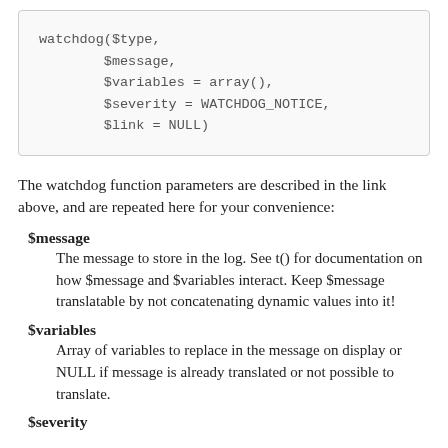The watchdog function parameters are described in the link above, and are repeated here for your convenience:
$message
The message to store in the log. See t() for documentation on how $message and $variables interact. Keep $message translatable by not concatenating dynamic values into it!
$variables
Array of variables to replace in the message on display or NULL if message is already translated or not possible to translate.